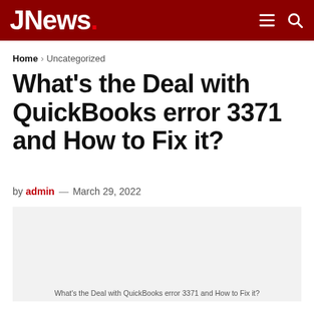JNews.
Home > Uncategorized
What's the Deal with QuickBooks error 3371 and How to Fix it?
by admin — March 29, 2022
[Figure (photo): Light grey placeholder image box with caption: What's the Deal with QuickBooks error 3371 and How to Fix it?]
What's the Deal with QuickBooks error 3371 and How to Fix it?